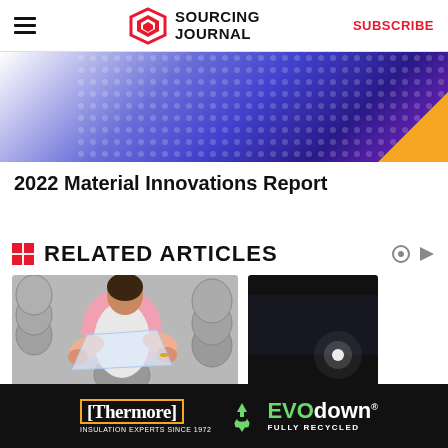Sourcing Journal — SUBSCRIBE
[Figure (photo): Banner image with purple/blue geometric pattern and orange triangle accent]
2022 Material Innovations Report
RELATED ARTICLES
[Figure (photo): Factory worker in pink shirt handling clear plastic wrap near spools of gray yarn]
[Figure (photo): Dark background with light source visible — second article thumbnail]
[Figure (photo): Thermore EVO down advertisement banner — Insulation experts since 1972, Fully Recycled]